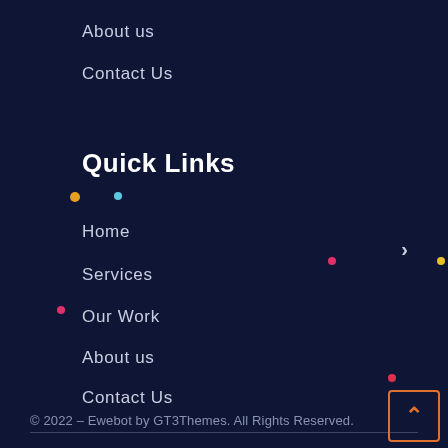About us
Contact Us
Quick Links
Home
Services
Our Work
About us
Contact Us
© 2022 – Ewebot by GT3Themes. All Rights Reserved.